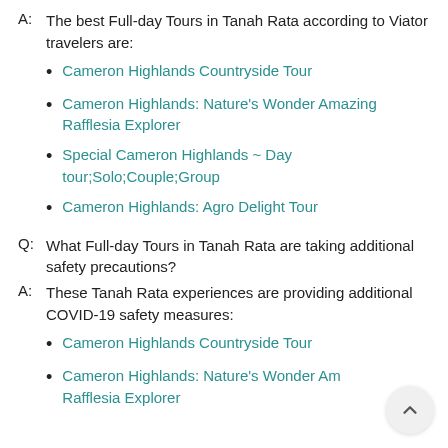A: The best Full-day Tours in Tanah Rata according to Viator travelers are:
Cameron Highlands Countryside Tour
Cameron Highlands: Nature's Wonder Amazing Rafflesia Explorer
Special Cameron Highlands ~ Day tour;Solo;Couple;Group
Cameron Highlands: Agro Delight Tour
Q: What Full-day Tours in Tanah Rata are taking additional safety precautions?
A: These Tanah Rata experiences are providing additional COVID-19 safety measures:
Cameron Highlands Countryside Tour
Cameron Highlands: Nature's Wonder Amazing Rafflesia Explorer